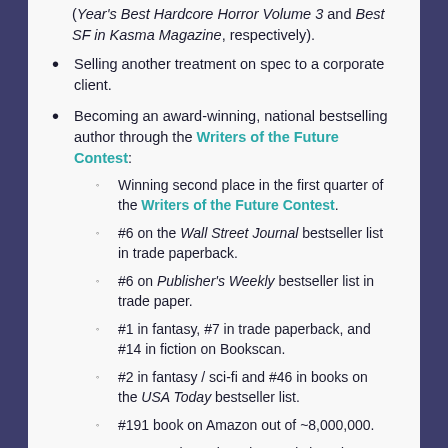(Year's Best Hardcore Horror Volume 3 and Best SF in Kasma Magazine, respectively).
Selling another treatment on spec to a corporate client.
Becoming an award-winning, national bestselling author through the Writers of the Future Contest:
Winning second place in the first quarter of the Writers of the Future Contest.
#6 on the Wall Street Journal bestseller list in trade paperback.
#6 on Publisher's Weekly bestseller list in trade paper.
#1 in fantasy, #7 in trade paperback, and #14 in fiction on Bookscan.
#2 in fantasy / sci-fi and #46 in books on the USA Today bestseller list.
#191 book on Amazon out of ~8,000,000.
#1 new release in Science Fiction Short Stories